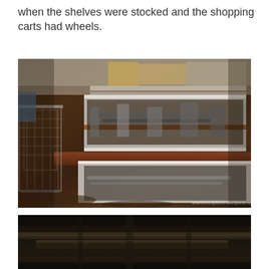when the shelves were stocked and the shopping carts had wheels.
[Figure (photo): Interior of an abandoned, decayed supermarket showing rusted shopping carts, collapsed shelving units, debris and grime covering the floor and fixtures, checkout counter area in ruins.]
[Figure (photo): Dark interior ceiling of an abandoned building showing deteriorated pipes, beams, and structural elements.]